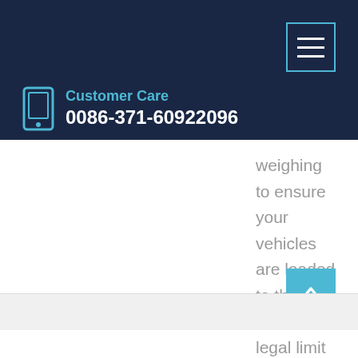Customer Care 0086-371-60922096
weighing to ensure your vehicles are loaded to the maximum legal limit without overloading. 4m Platform scales are ideal for use at truck terminals, loading yards and distribution centres. Our shallow pit installation does not require expensive construction or precision levelling.
Learn More